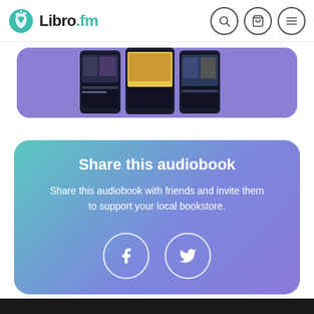Libro.fm
[Figure (screenshot): Libro.fm app screenshot showing phone screens with audiobook covers on a purple/violet rounded card background]
Share this audiobook
Share this audiobook with friends and invite them to support your local bookstore.
[Figure (infographic): Facebook and Twitter share icons as white circles with social media logos]